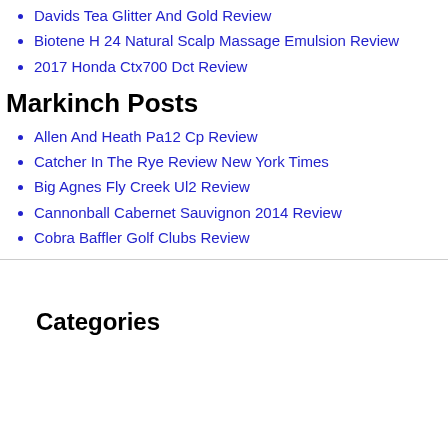Davids Tea Glitter And Gold Review
Biotene H 24 Natural Scalp Massage Emulsion Review
2017 Honda Ctx700 Dct Review
Markinch Posts
Allen And Heath Pa12 Cp Review
Catcher In The Rye Review New York Times
Big Agnes Fly Creek Ul2 Review
Cannonball Cabernet Sauvignon 2014 Review
Cobra Baffler Golf Clubs Review
Categories